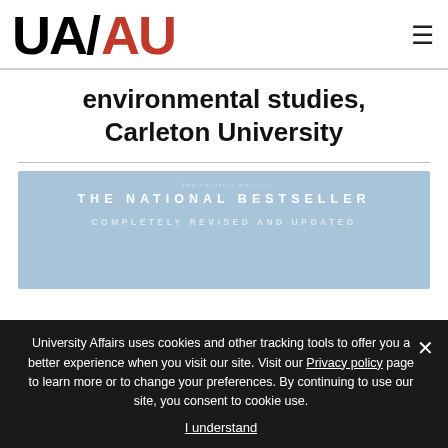[Figure (logo): UA/AU University Affairs bilingual logo — UA in black, AU in red, large bold sans-serif]
environmental studies, Carleton University
[Figure (photo): Book cover showing 'THE NATIONAL BESTSELLER COMPLETELY REVISED AND UPDATED' text on a landscape background]
University Affairs uses cookies and other tracking tools to offer you a better experience when you visit our site. Visit our Privacy policy page to learn more or to change your preferences. By continuing to use our site, you consent to cookie use.
I understand